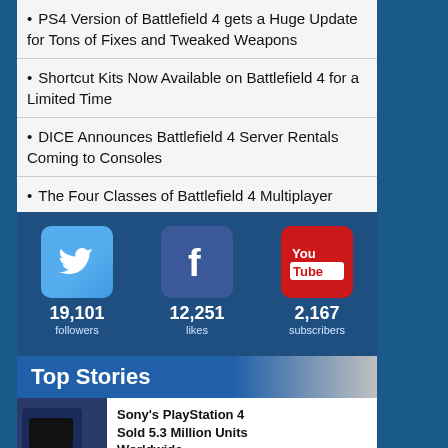PS4 Version of Battlefield 4 gets a Huge Update for Tons of Fixes and Tweaked Weapons
Shortcut Kits Now Available on Battlefield 4 for a Limited Time
DICE Announces Battlefield 4 Server Rentals Coming to Consoles
The Four Classes of Battlefield 4 Multiplayer
[Figure (infographic): Social media stats: Twitter 19,101 followers, Facebook 12,251 likes, YouTube 2,167 subscribers]
Top Stories
Sony's PlayStation 4 Sold 5.3 Million Units Worldwide